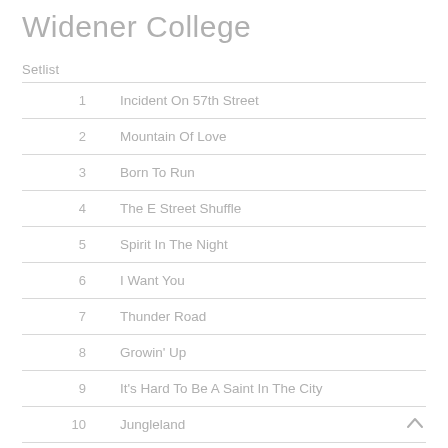Widener College
Setlist
| # | Song |
| --- | --- |
| 1 | Incident On 57th Street |
| 2 | Mountain Of Love |
| 3 | Born To Run |
| 4 | The E Street Shuffle |
| 5 | Spirit In The Night |
| 6 | I Want You |
| 7 | Thunder Road |
| 8 | Growin' Up |
| 9 | It's Hard To Be A Saint In The City |
| 10 | Jungleland |